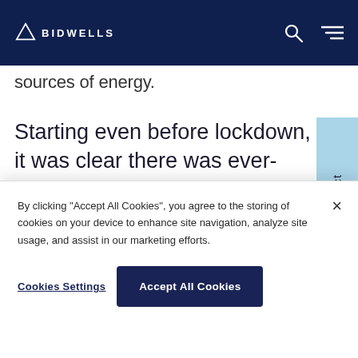BIDWELLS
sources of energy.
Starting even before lockdown, it was clear there was ever-increasing pressure to make the greenhouse gas producing days of burning
By clicking "Accept All Cookies", you agree to the storing of cookies on your device to enhance site navigation, analyze site usage, and assist in our marketing efforts.
Cookies Settings
Accept All Cookies